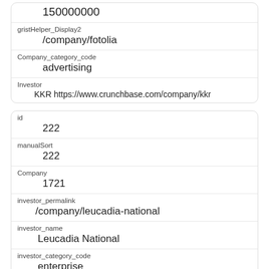| 150000000 |
| gristHelper_Display2 | /company/fotolia |
| Company_category_code | advertising |
| Investor | KKR https://www.crunchbase.com/company/kkr |
| id | 222 |
| manualSort | 222 |
| Company | 1721 |
| investor_permalink | /company/leucadia-national |
| investor_name | Leucadia National |
| investor_category_code | enterprise |